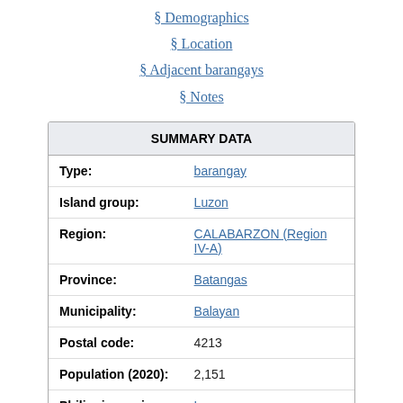§ Demographics
§ Location
§ Adjacent barangays
§ Notes
| Summary data |
| --- |
| Type: | barangay |
| Island group: | Luzon |
| Region: | CALABARZON (Region IV-A) |
| Province: | Batangas |
| Municipality: | Balayan |
| Postal code: | 4213 |
| Population (2020): | 2,151 |
| Philippine major | Luzon |